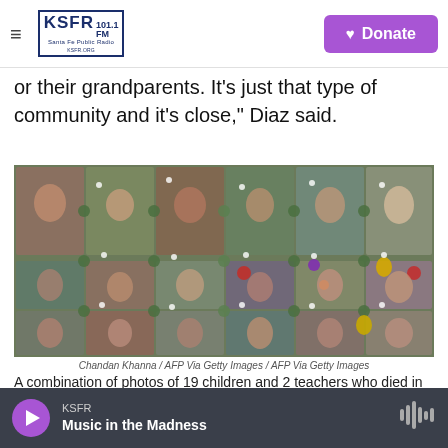KSFR 101.1 FM Santa Fe Public Radio | Donate
or their grandparents. It's just that type of community and it's close," Diaz said.
[Figure (photo): A combination of photos of children and teachers arranged in a collage with floral wreaths and colorful balloons as decorations around each portrait.]
Chandan Khanna / AFP Via Getty Images / AFP Via Getty Images
A combination of photos of 19 children and 2 teachers who died in the
KSFR — Music in the Madness